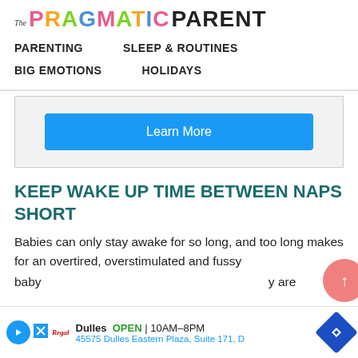The PRAGMATIC PARENT
PARENTING   SLEEP & ROUTINES   BIG EMOTIONS   HOLIDAYS
[Figure (other): Advertisement box with a blue 'Learn More' button]
KEEP WAKE UP TIME BETWEEN NAPS SHORT
Babies can only stay awake for so long, and too long makes for an overtired, overstimulated and fussy baby [... ...] y are
[Figure (other): Bottom banner advertisement: Dulles OPEN 10AM-8PM, 45575 Dulles Eastern Plaza, Suite 171, D]